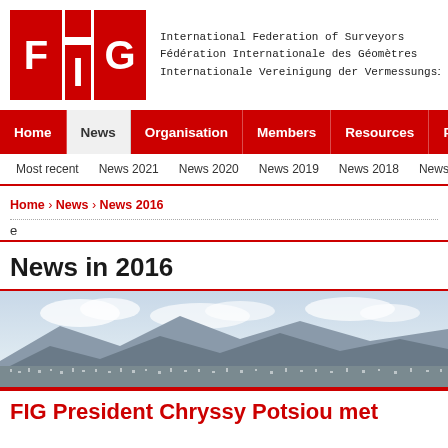[Figure (logo): FIG logo — three red rectangles with white letters F, I, G]
International Federation of Surveyors
Fédération Internationale des Géomètres
Internationale Vereinigung der Vermessungsingenie...
Home | News | Organisation | Members | Resources | Partners
Most recent  News 2021  News 2020  News 2019  News 2018  News 2017
Home › News › News 2016
e
News in 2016
[Figure (photo): Panoramic aerial/landscape photograph of a city with mountains in background and cloudy sky]
FIG President Chryssy Potsiou met